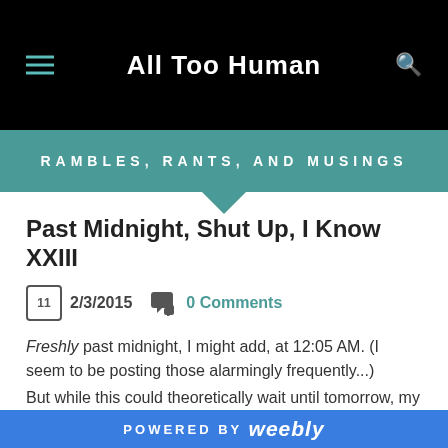All Too Human
RAMBLES, RANTS, AND MUSINGS
Past Midnight, Shut Up, I Know XXIII
2/3/2015  0 Comments
Freshly past midnight, I might add, at 12:05 AM. (I seem to be posting those alarmingly frequently...) But while this could theoretically wait until tomorrow, my words
POWERED BY weebly